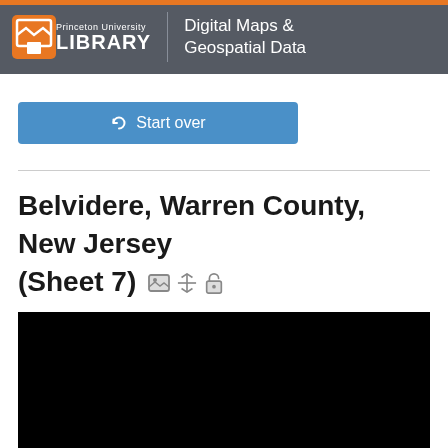Princeton University LIBRARY | Digital Maps & Geospatial Data
Start over
Belvidere, Warren County, New Jersey (Sheet 7)
[Figure (other): Black rectangle representing a map preview thumbnail]